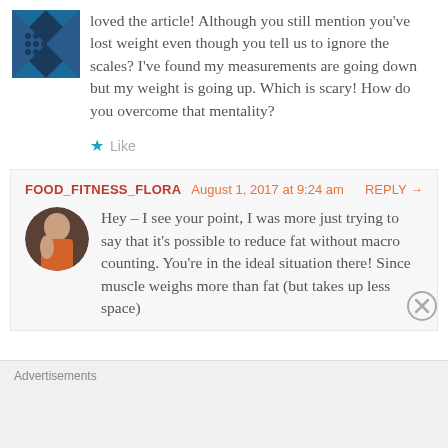loved the article! Although you still mention you've lost weight even though you tell us to ignore the scales? I've found my measurements are going down but my weight is going up. Which is scary! How do you overcome that mentality?
Like
FOOD_FITNESS_FLORA  August 1, 2017 at 9:24 am  REPLY →
Hey – I see your point, I was more just trying to say that it's possible to reduce fat without macro counting. You're in the ideal situation there! Since muscle weighs more than fat (but takes up less space)
Advertisements